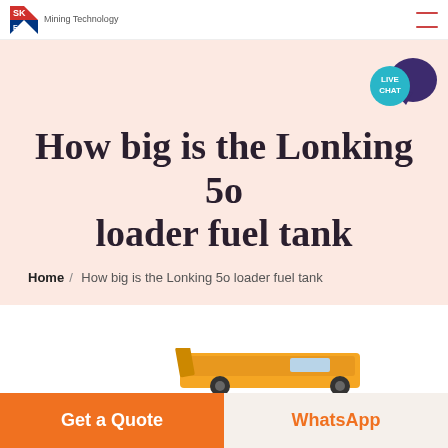SKE Mining Technology
How big is the Lonking 5o loader fuel tank
Home / How big is the Lonking 5o loader fuel tank
[Figure (photo): Partial view of a yellow construction loader/wheel loader machine]
Get a Quote
WhatsApp